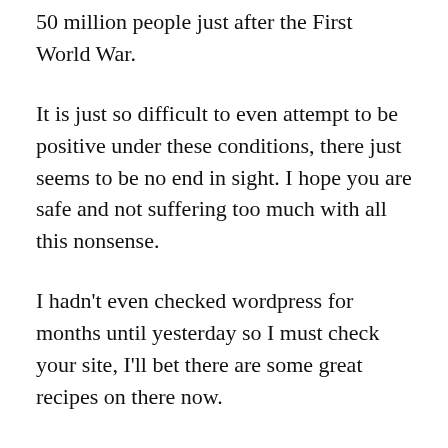50 million people just after the First World War.
It is just so difficult to even attempt to be positive under these conditions, there just seems to be no end in sight. I hope you are safe and not suffering too much with all this nonsense.
I hadn't even checked wordpress for months until yesterday so I must check your site, I'll bet there are some great recipes on there now.
Thanks once again and we shall speak soon.